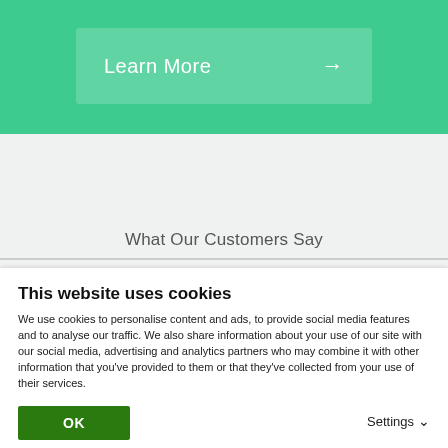[Figure (screenshot): Green banner section with a 'Learn More' button with arrow on the right]
What Our Customers Say
This website uses cookies
We use cookies to personalise content and ads, to provide social media features and to analyse our traffic. We also share information about your use of our site with our social media, advertising and analytics partners who may combine it with other information that you've provided to them or that they've collected from your use of their services.